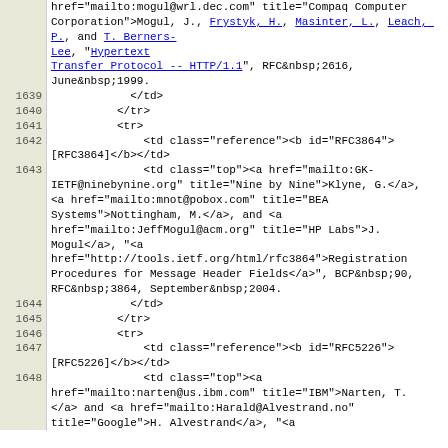Source code / HTML markup showing RFC references with line numbers 1639-1648
| line | code |
| --- | --- |
|  | href="mailto:mogul@wrl.dec.com" title="Compaq Computer Corporation">Mogul, J.</a>, <a href="mailto:frystyk@w3.org" title="MIT Laboratory for Computer Science">Frystyk, H.</a>, <a href="mailto:masinter@parc.xerox.com" title="Xerox Corporation">Masinter, L.</a>, <a href="mailto:paulle@microsoft.com" title="Microsoft Corporation">Leach, P.</a>, and <a href="mailto:timbl@w3.org" title="W3C">T. Berners-Lee</a>, "<a href="http://tools.ietf.org/html/rfc2616">Hypertext Transfer Protocol -- HTTP/1.1</a>", RFC&nbsp;2616, June&nbsp;1999. |
| 1639 |             </td> |
| 1640 |           </tr> |
| 1641 |           <tr> |
| 1642 |               <td class="reference"><b id="RFC3864">[RFC3864]</b></td> |
| 1643 |               <td class="top"><a href="mailto:GK-IETF@ninebynine.org" title="Nine by Nine">Klyne, G.</a>, <a href="mailto:mnot@pobox.com" title="BEA Systems">Nottingham, M.</a>, and <a href="mailto:JeffMogul@acm.org" title="HP Labs">J. Mogul</a>, "<a href="http://tools.ietf.org/html/rfc3864">Registration Procedures for Message Header Fields</a>", BCP&nbsp;90, RFC&nbsp;3864, September&nbsp;2004. |
| 1644 |             </td> |
| 1645 |           </tr> |
| 1646 |           <tr> |
| 1647 |               <td class="reference"><b id="RFC5226">[RFC5226]</b></td> |
| 1648 |               <td class="top"><a href="mailto:narten@us.ibm.com" title="IBM">Narten, T.</a> and <a href="mailto:Harald@Alvestrand.no" title="Google">H. Alvestrand</a>, "<a |